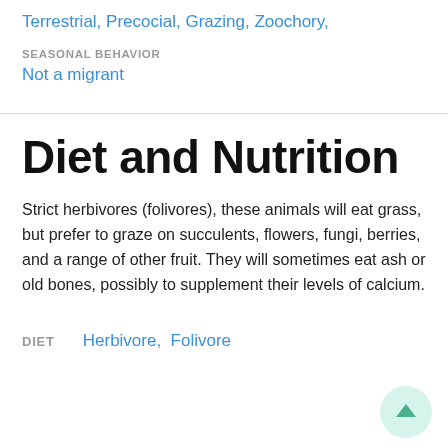Terrestrial, Precocial, Grazing, Zoochory,
SEASONAL BEHAVIOR
Not a migrant
Diet and Nutrition
Strict herbivores (folivores), these animals will eat grass, but prefer to graze on succulents, flowers, fungi, berries, and a range of other fruit. They will sometimes eat ash or old bones, possibly to supplement their levels of calcium.
DIET   Herbivore,  Folivore